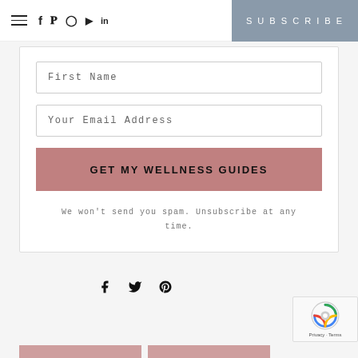Navigation header with hamburger menu, social icons (Facebook, Pinterest, Instagram, YouTube, LinkedIn) and SUBSCRIBE button
First Name
Your Email Address
GET MY WELLNESS GUIDES
We won't send you spam. Unsubscribe at any time.
[Figure (infographic): Social sharing icons: Facebook, Twitter, Pinterest]
[Figure (infographic): Google reCAPTCHA badge with Privacy and Terms links]